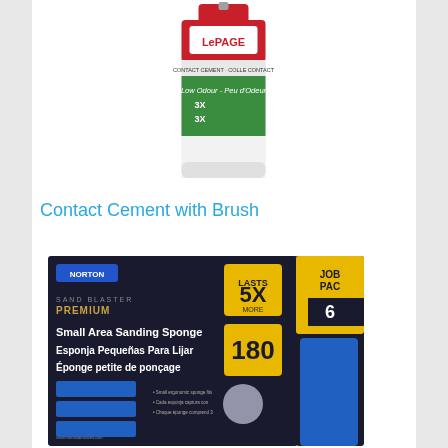[Figure (photo): LePage Contact Cement with Brush bottle — red cap, white body with red LePage branding at top, green label section showing 'Low Odour - Peu d'Odeur', '3X' markings, contact cement product details]
Contact Cement with Brush
[Figure (photo): Norton Premium Small Area Sanding Sponge box — black background with blue sponge graphic, yellow '5X' and '180' grit markings, text in English, Spanish, and French: 'Small Area Sanding Sponge', 'Esponja Pequeñas Para Lijar', 'Éponge petite de ponçage', Norton logo, JOB PAC 6 pack label on right side]